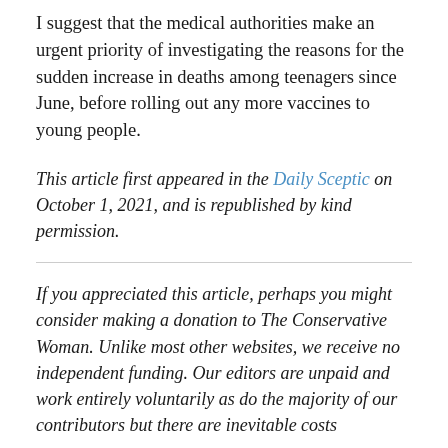I suggest that the medical authorities make an urgent priority of investigating the reasons for the sudden increase in deaths among teenagers since June, before rolling out any more vaccines to young people.
This article first appeared in the Daily Sceptic on October 1, 2021, and is republished by kind permission.
If you appreciated this article, perhaps you might consider making a donation to The Conservative Woman. Unlike most other websites, we receive no independent funding. Our editors are unpaid and work entirely voluntarily as do the majority of our contributors but there are inevitable costs...